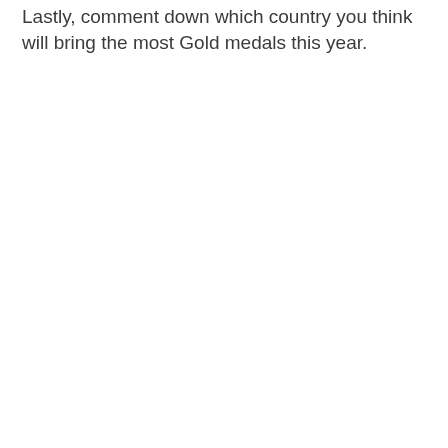Lastly, comment down which country you think will bring the most Gold medals this year.